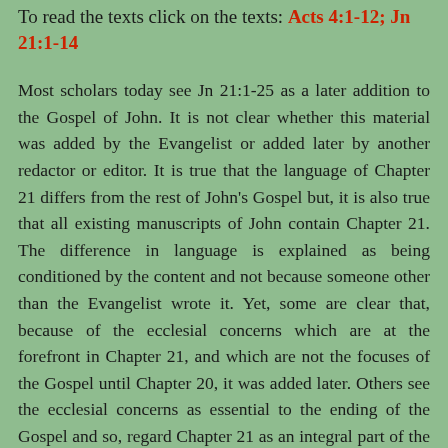To read the texts click on the texts: Acts 4:1-12; Jn 21:1-14
Most scholars today see Jn 21:1-25 as a later addition to the Gospel of John. It is not clear whether this material was added by the Evangelist or added later by another redactor or editor. It is true that the language of Chapter 21 differs from the rest of John's Gospel but, it is also true that all existing manuscripts of John contain Chapter 21. The difference in language is explained as being conditioned by the content and not because someone other than the Evangelist wrote it. Yet, some are clear that, because of the ecclesial concerns which are at the forefront in Chapter 21, and which are not the focuses of the Gospel until Chapter 20, it was added later. Others see the ecclesial concerns as essential to the ending of the Gospel and so, regard Chapter 21 as an integral part of the Gospel. Be that as it may, Chapter 21 is now part of the Gospel and so must be interpreted